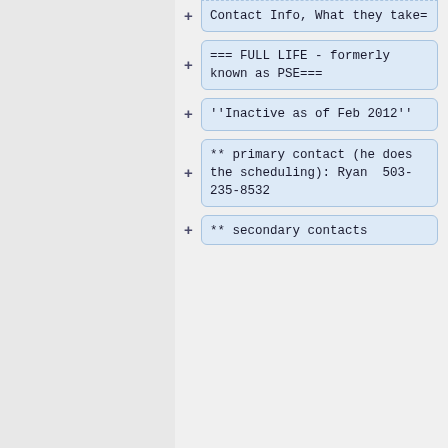Contact Info, What they take=
=== FULL LIFE - formerly known as PSE===
''Inactive as of Feb 2012''
** primary contact (he does the scheduling): Ryan  503-235-8532
** secondary contacts